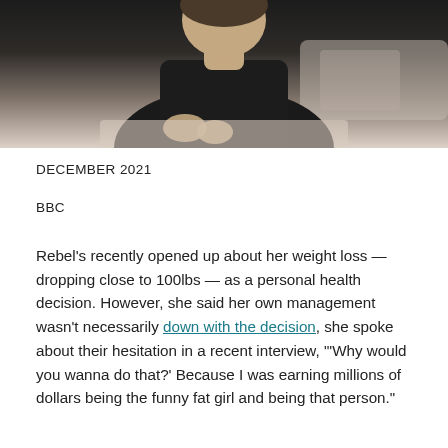[Figure (photo): Person wearing black clothing seated at a table, photographed from mid-torso up with hands visible, in a warmly lit interior setting]
DECEMBER 2021
BBC
Rebel's recently opened up about her weight loss — dropping close to 100lbs — as a personal health decision. However, she said her own management wasn't necessarily down with the decision, she spoke about their hesitation in a recent interview, "'Why would you wanna do that?' Because I was earning millions of dollars being the funny fat girl and being that person."